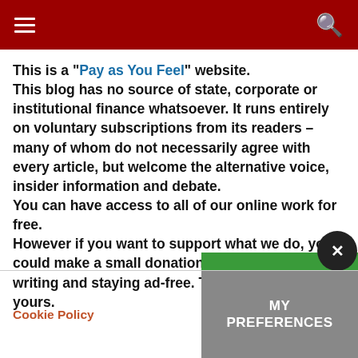[hamburger menu] [search icon]
This is a "Pay as You Feel" website. This blog has no source of state, corporate or institutional finance whatsoever. It runs entirely on voluntary subscriptions from its readers – many of whom do not necessarily agree with every article, but welcome the alternative voice, insider information and debate. You can have access to all of our online work for free. However if you want to support what we do, you could make a small donation to help us keep writing and staying ad-free. The choice is entirely yours.
Cookie Policy
I ACCEPT
MY PREFERENCES